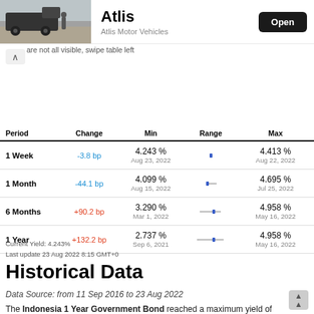[Figure (screenshot): App store banner showing Atlis Motor Vehicles app with truck image, title 'Atlis', subtitle 'Atlis Motor Vehicles', and an 'Open' button]
are not all visible, swipe table left
| Period | Change | Min | Range | Max |
| --- | --- | --- | --- | --- |
| 1 Week | -3.8 bp | 4.243 %
Aug 23, 2022 |  | 4.413 %
Aug 22, 2022 |
| 1 Month | -44.1 bp | 4.099 %
Aug 15, 2022 |  | 4.695 %
Jul 25, 2022 |
| 6 Months | +90.2 bp | 3.290 %
Mar 1, 2022 |  | 4.958 %
May 16, 2022 |
| 1 Year | +132.2 bp | 2.737 %
Sep 6, 2021 |  | 4.958 %
May 16, 2022 |
Current Yield: 4.243%
Last update 23 Aug 2022 8:15 GMT+0
Historical Data
Data Source: from 11 Sep 2016 to 23 Aug 2022
The Indonesia 1 Year Government Bond reached a maximum yield of